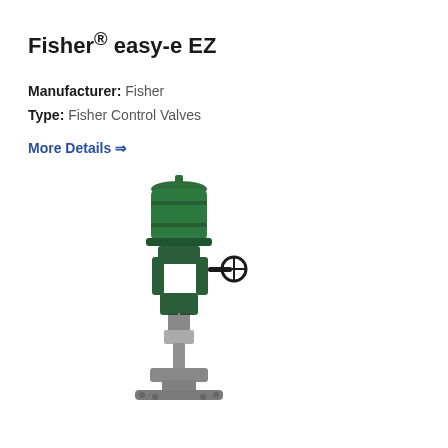Fisher® easy-e EZ
Manufacturer: Fisher
Type: Fisher Control Valves
More Details ⇒
[Figure (photo): Fisher easy-e EZ control valve with green actuator on top and silver/grey valve body with flanged connections at the bottom, shown vertically oriented with a handwheel on the side.]